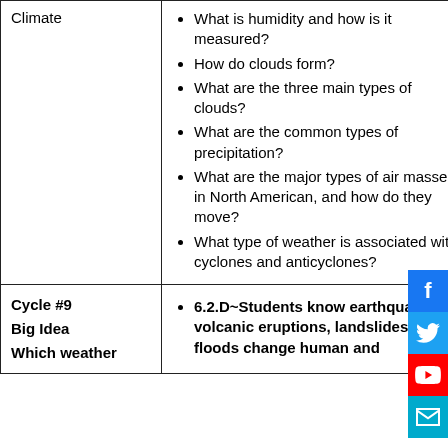| Topic | Questions/Standards |
| --- | --- |
| Climate | • What is humidity and how is it measured?
• How do clouds form?
• What are the three main types of clouds?
• What are the common types of precipitation?
• What are the major types of air masses in North American, and how do they move?
• What type of weather is associated with cyclones and anticyclones? |
| Cycle #9
Big Idea
Which weather | • 6.2.D~Students know earthquakes, volcanic eruptions, landslides, and floods change human and |